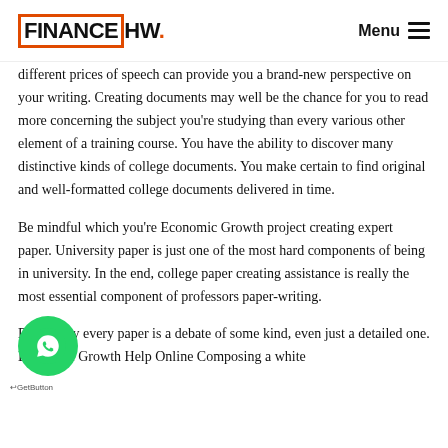FINANCEHW. Menu
different prices of speech can provide you a brand-new perspective on your writing. Creating documents may well be the chance for you to read more concerning the subject you're studying than every various other element of a training course. You have the ability to discover many distinctive kinds of college documents. You make certain to find original and well-formatted college documents delivered in time.
Be mindful which you're Economic Growth project creating expert paper. University paper is just one of the most hard components of being in university. In the end, college paper creating assistance is really the most essential component of professors paper-writing.
Essentially every paper is a debate of some kind, even just a detailed one. Economic Growth Help Online Composing a white